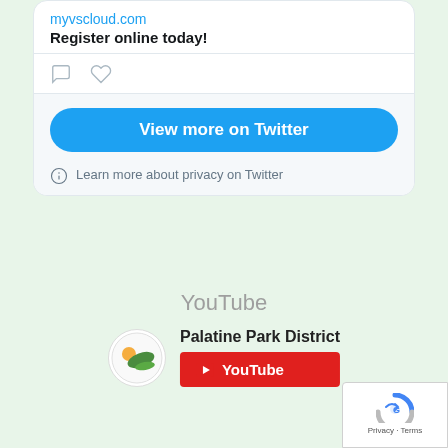myvscloud.com
Register online today!
[Figure (screenshot): Twitter embed widget showing a tweet with myvscloud.com link and 'Register online today!' text, with reply and heart icons, a 'View more on Twitter' button, and a privacy link.]
YouTube
Palatine Park District
[Figure (logo): Palatine Park District logo — circular emblem with green bird/landscape graphic]
[Figure (screenshot): YouTube subscribe button (red with play icon)]
[Figure (screenshot): reCAPTCHA badge with 'Privacy - Terms' text]